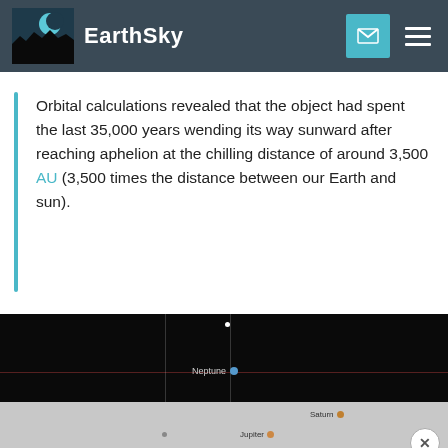EarthSky
Orbital calculations revealed that the object had spent the last 35,000 years wending its way sunward after reaching aphelion at the chilling distance of around 3,500 AU (3,500 times the distance between our Earth and sun).
[Figure (screenshot): Dark sky chart screenshot showing Neptune labeled with a blue dot near crosshairs, and a bottom gray panel showing Saturn and Jupiter labels with dots.]